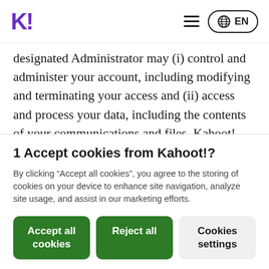K! EN
designated Administrator may (i) control and administer your account, including modifying and terminating your access and (ii) access and process your data, including the contents of your communications and files. Kahoot! may inform you that your associated Organization has assumed control of the Kahoot! Services covered by your Service Plan, but Kahoot! is under no obligation to
1 Accept cookies from Kahoot!?
By clicking “Accept all cookies”, you agree to the storing of cookies on your device to enhance site navigation, analyze site usage, and assist in our marketing efforts.
Accept all cookies | Reject all | Cookies settings